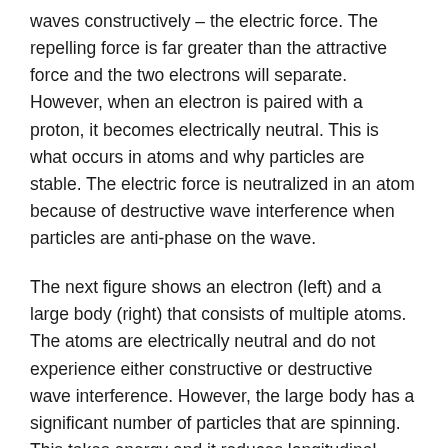waves constructively – the electric force. The repelling force is far greater than the attractive force and the two electrons will separate. However, when an electron is paired with a proton, it becomes electrically neutral. This is what occurs in atoms and why particles are stable. The electric force is neutralized in an atom because of destructive wave interference when particles are anti-phase on the wave.
The next figure shows an electron (left) and a large body (right) that consists of multiple atoms. The atoms are electrically neutral and do not experience either constructive or destructive wave interference. However, the large body has a significant number of particles that are spinning. This takes energy and it reduces longitudinal wave energy as it passes through the large body from right-to-left in the illustration.